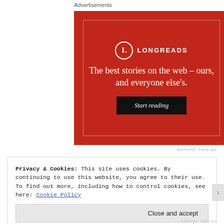Advertisements
[Figure (advertisement): Longreads advertisement on red background. Logo with circle L and LONGREADS text. Tagline: The best stories on the web – ours, and everyone else's. Black button: Start reading.]
REPORT THIS AD
Privacy & Cookies: This site uses cookies. By continuing to use this website, you agree to their use.
To find out more, including how to control cookies, see here: Cookie Policy
Close and accept